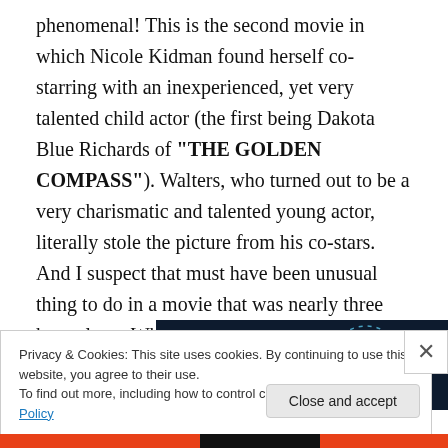phenomenal! This is the second movie in which Nicole Kidman found herself co-starring with an inexperienced, yet very talented child actor (the first being Dakota Blue Richards of "THE GOLDEN COMPASS"). Walters, who turned out to be a very charismatic and talented young actor, literally stole the picture from his co-stars. And I suspect that must have been unusual thing to do in a movie that was nearly three hours long. Whether Walters prove to become a future star – only time will tell.
[Figure (other): Advertisement banner with dark blue background and dotted circular logo reading 'CROWD']
Privacy & Cookies: This site uses cookies. By continuing to use this website, you agree to their use.
To find out more, including how to control cookies, see here: Cookie Policy